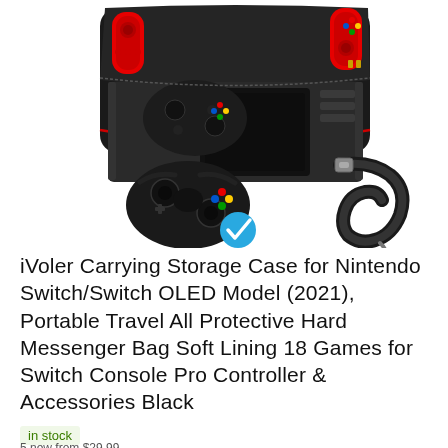[Figure (photo): Product photo of iVoler Nintendo Switch carrying case — a black hard shell messenger bag open to show Nintendo Switch, Joy-Con controllers, Pro Controller, and accessories inside. A separate black Pro Controller with blue checkmark overlay and a shoulder strap are shown below the main case.]
iVoler Carrying Storage Case for Nintendo Switch/Switch OLED Model (2021), Portable Travel All Protective Hard Messenger Bag Soft Lining 18 Games for Switch Console Pro Controller & Accessories Black
in stock
5 new from $29.99